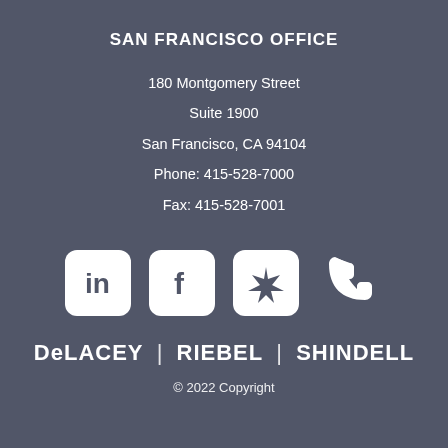SAN FRANCISCO OFFICE
180 Montgomery Street
Suite 1900
San Francisco, CA 94104
Phone: 415-528-7000
Fax: 415-528-7001
[Figure (infographic): Row of four social media / contact icons: LinkedIn (rounded square), Facebook (rounded square), Yelp (rounded square), Phone (plain icon)]
DeLACEY | RIEBEL | SHINDELL
© 2022 Copyright